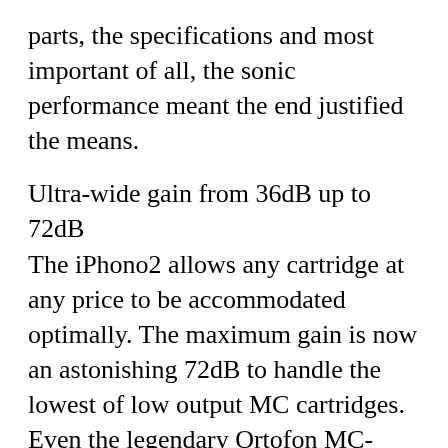parts, the specifications and most important of all, the sonic performance meant the end justified the means.
Ultra-wide gain from 36dB up to 72dB The iPhono2 allows any cartridge at any price to be accommodated optimally. The maximum gain is now an astonishing 72dB to handle the lowest of low output MC cartridges. Even the legendary Ortofon MC-5000 does not require sound-degrading step-up transformers. The original iPHONO already had a wonderful dynamic range of 90dB that had